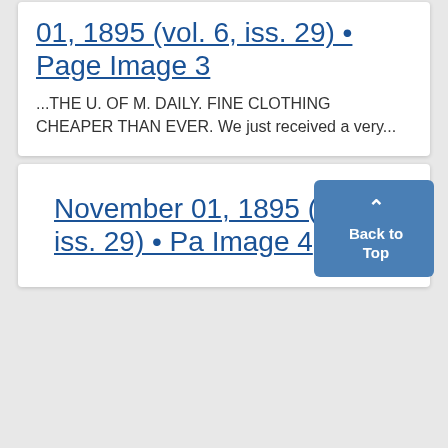01, 1895 (vol. 6, iss. 29) • Page Image 3
...THE U. OF M. DAILY. FINE CLOTHING CHEAPER THAN EVER. We just received a very...
November 01, 1895 (vol. 6, iss. 29) • Page Image 4